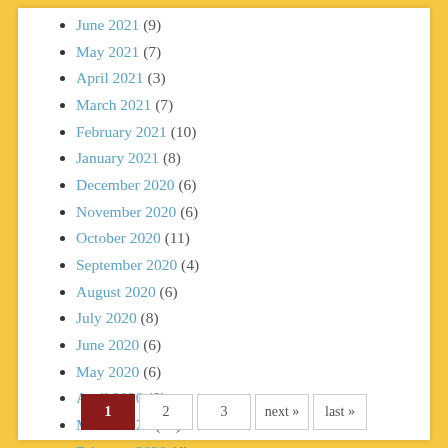June 2021 (9)
May 2021 (7)
April 2021 (3)
March 2021 (7)
February 2021 (10)
January 2021 (8)
December 2020 (6)
November 2020 (6)
October 2020 (11)
September 2020 (4)
August 2020 (6)
July 2020 (8)
June 2020 (6)
May 2020 (6)
April 2020 (8)
March 2020 (12)
February 2020 (4)